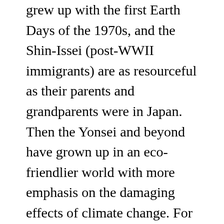grew up with the first Earth Days of the 1970s, and the Shin-Issei (post-WWII immigrants) are as resourceful as their parents and grandparents were in Japan. Then the Yonsei and beyond have grown up in an eco-friendlier world with more emphasis on the damaging effects of climate change. For our daughter, turning off lights to save energy, not running the water, and green awareness were lessons learned not only in elementary school, but even in preschool.
But for every Prius out there, there are as many gas-guzzling minivans and SUVs. We live in a big-box chain generation that